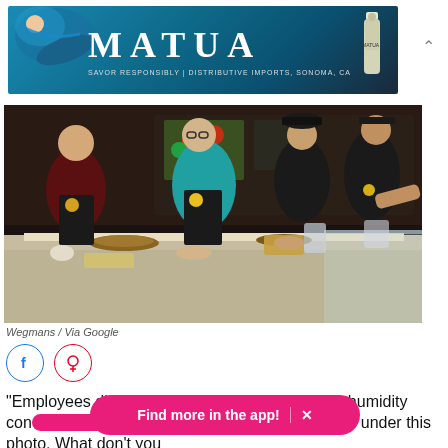[Figure (photo): Matua wine advertisement banner with swimmer and bottle against teal/blue background]
[Figure (photo): Wegmans grocery store employees in aprons standing behind a deli/cheese counter distributing food samples]
Wegmans / Via Google
[Figure (infographic): Social media share icons: Facebook (blue circle) and Pinterest (red circle)]
"Employees distribute cheese samples from the humidity con[trolled display cas]e" was literally the caption under this photo. What don't you
[Figure (screenshot): App promotion banner: 'Find more in the app!' with X close button, pink/magenta rounded rectangle]